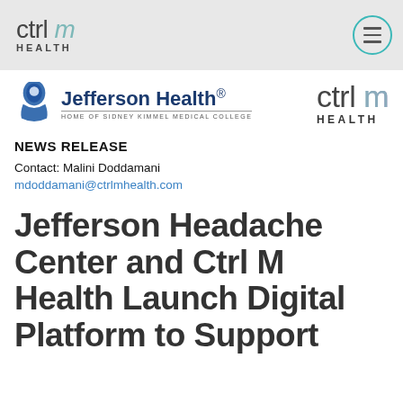ctrl m HEALTH [hamburger menu icon]
[Figure (logo): Jefferson Health logo with person icon, 'HOME OF SIDNEY KIMMEL MEDICAL COLLEGE' subtext]
[Figure (logo): ctrl m HEALTH logo, large version]
NEWS RELEASE
Contact: Malini Doddamani
mdoddamani@ctrlmhealth.com
Jefferson Headache Center and Ctrl M Health Launch Digital Platform to Support